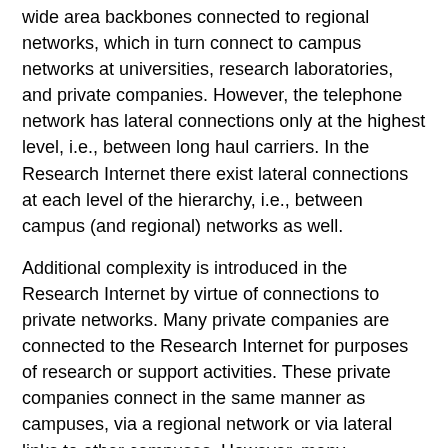wide area backbones connected to regional networks, which in turn connect to campus networks at universities, research laboratories, and private companies. However, the telephone network has lateral connections only at the highest level, i.e., between long haul carriers. In the Research Internet there exist lateral connections at each level of the hierarchy, i.e., between campus (and regional) networks as well.
Additional complexity is introduced in the Research Internet by virtue of connections to private networks. Many private companies are connected to the Research Internet for purposes of research or support activities. These private companies connect in the same manner as campuses, via a regional network or via lateral links to other campuses. However, many companies have their own private wide area networks which physically overlap with backbone and/or regional networks in the research internet, i.e., private vertical bypass links.
Implicit in this complex topology are organizational boundaries. These boundaries define Administrative